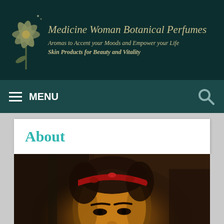Medicine Woman Botanical Perfumes
Aromas to Accent your Moods and Empower your Life
Skin Products for Beauty and Vitality
≡ MENU
About
[Figure (photo): Close-up photograph of a woman with short dark hair wearing a red headband or hair accessory, looking slightly downward. Warm amber/dark indoor lighting.]